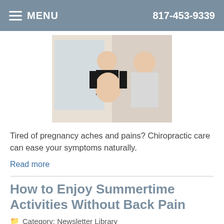MENU  817-453-9339
[Figure (photo): A pregnant woman in a black sports bra receiving chiropractic care from a practitioner]
Tired of pregnancy aches and pains? Chiropractic care can ease your symptoms naturally.
Read more
How to Enjoy Summertime Activities Without Back Pain
Category: Newsletter Library
[Figure (photo): A person outdoors stretching their back, with green trees in the background]
Accessibility View  ×